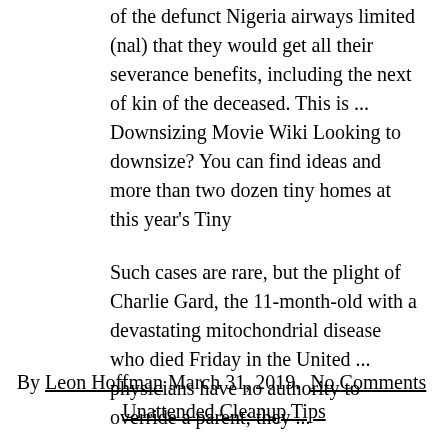of the defunct Nigeria airways limited (nal) that they would get all their severance benefits, including the next of kin of the deceased. This is ... Downsizing Movie Wiki Looking to downsize? You can find ideas and more than two dozen tiny homes at this year's Tiny
Such cases are rare, but the plight of Charlie Gard, the 11-month-old with a devastating mitochondrial disease who died Friday in the United ... physicians have no authority to override a parent; they ...
By Leon Hoffman March 31, 2019.  No Comments  Unattended Cleanup Tips